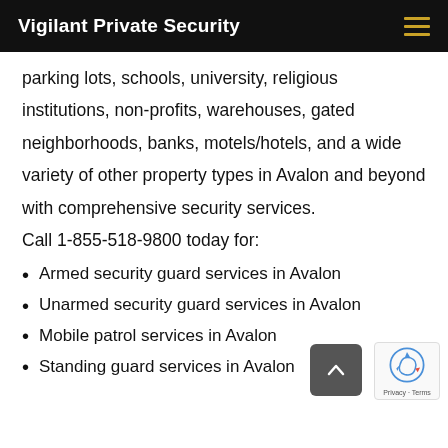Vigilant Private Security
parking lots, schools, university, religious institutions, non-profits, warehouses, gated neighborhoods, banks, motels/hotels, and a wide variety of other property types in Avalon and beyond with comprehensive security services. Call 1-855-518-9800 today for:
Armed security guard services in Avalon
Unarmed security guard services in Avalon
Mobile patrol services in Avalon
Standing guard services in Avalon